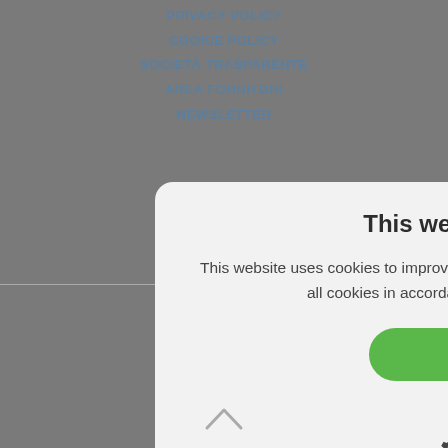PRIVACY POLICY
COOKIE POLICY
SOCIETÀ TRASPARENTE
AREA FORNITORI
NEWSLETTER
[Figure (screenshot): Cookie consent modal dialog with title 'This website uses cookies', body text about cookies, Accept All button (green), Decline All button, and Show Details option with gear icon. Background shows a website navigation menu in dark grey overlay.]
This website uses cookies
This website uses cookies to improve user experience. By using our website you consent to all cookies in accordance with our Cookie Policy. Read more
ACCEPT ALL
DECLINE ALL
SHOW DETAILS